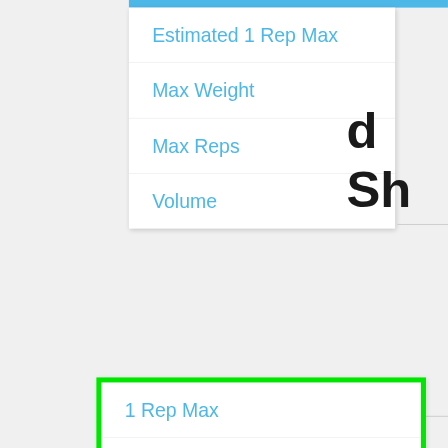Estimated 1 Rep Max
Max Weight
Max Reps
Volume
1 Rep Max
3 Rep Max
5 Rep Max
10 Rep Max
d Sh
40 lbs